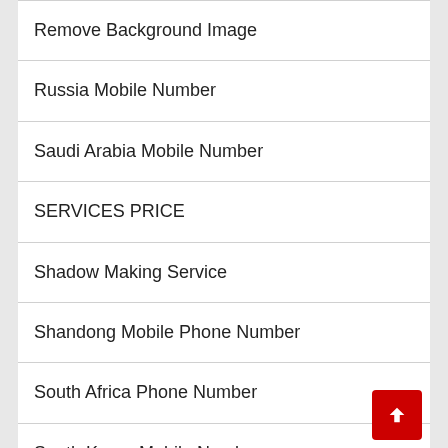Remove Background Image
Russia Mobile Number
Saudi Arabia Mobile Number
SERVICES PRICE
Shadow Making Service
Shandong Mobile Phone Number
South Africa Phone Number
South Korea Mobile Number